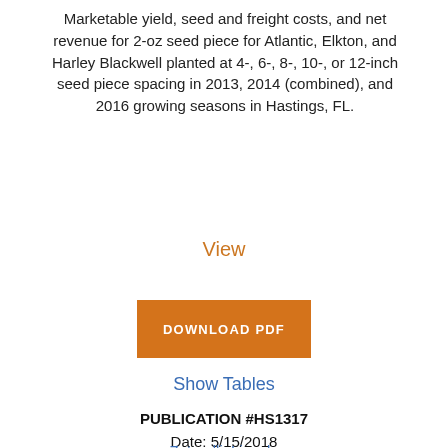Marketable yield, seed and freight costs, and net revenue for 2-oz seed piece for Atlantic, Elkton, and Harley Blackwell planted at 4-, 6-, 8-, 10-, or 12-inch seed piece spacing in 2013, 2014 (combined), and 2016 growing seasons in Hastings, FL.
View
DOWNLOAD PDF
Show Tables
PUBLICATION #HS1317
Date: 5/15/2018
Zotarelli, Lincoln